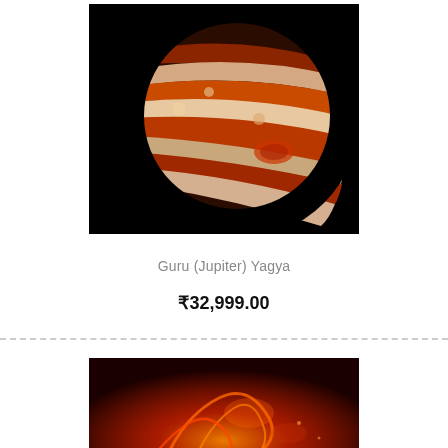[Figure (photo): Close-up image of Jupiter showing orange, red, and white swirling cloud bands against a black background]
Guru (Jupiter) Yagya
₹32,999.00
[Figure (photo): Reddish-orange solar corona or plasma image showing bright glowing loops and flares on a deep red background]